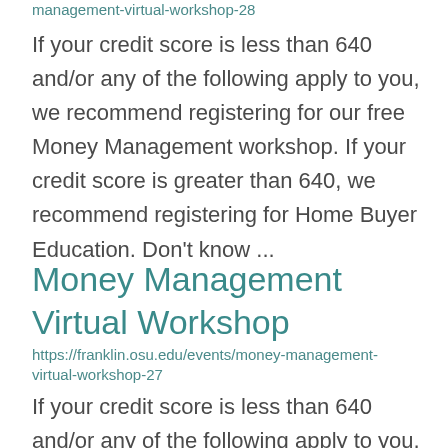management-virtual-workshop-28
If your credit score is less than 640 and/or any of the following apply to you, we recommend registering for our free Money Management workshop. If your credit score is greater than 640, we recommend registering for Home Buyer Education. Don't know ...
Money Management Virtual Workshop
https://franklin.osu.edu/events/money-management-virtual-workshop-27
If your credit score is less than 640 and/or any of the following apply to you,